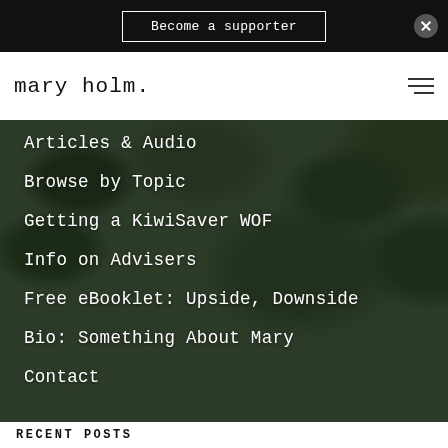Become a supporter
mary holm.
Articles & Audio
Browse by Topic
Getting a KiwiSaver WOF
Info on Advisers
Free eBooklet: Upside, Downside
Bio: Something About Mary
Contact
RECENT POSTS